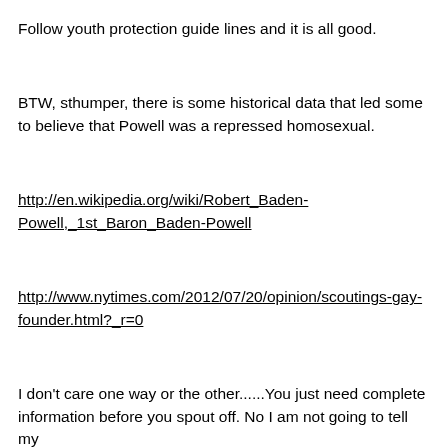Follow youth protection guide lines and it is all good.
BTW, sthumper, there is some historical data that led some to believe that Powell was a repressed homosexual.
http://en.wikipedia.org/wiki/Robert_Baden-Powell,_1st_Baron_Baden-Powell
http://www.nytimes.com/2012/07/20/opinion/scoutings-gay-founder.html?_r=0
I don't care one way or the other......You just need complete information before you spout off. No I am not going to tell my